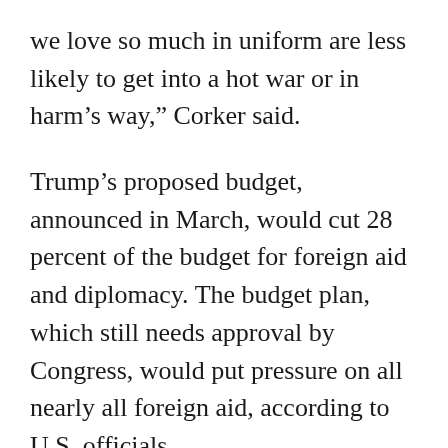we love so much in uniform are less likely to get into a hot war or in harm’s way,” Corker said.
Trump’s proposed budget, announced in March, would cut 28 percent of the budget for foreign aid and diplomacy. The budget plan, which still needs approval by Congress, would put pressure on all nearly all foreign aid, according to U.S. officials.
The budget would “spend less money on people overseas and more money on people back home,” Mick Mulvaney, the president’s budget director, said last month after the plan was